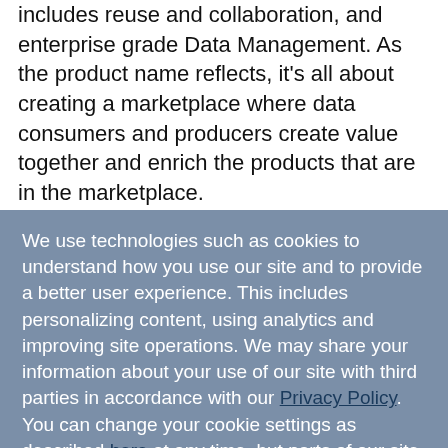includes reuse and collaboration, and enterprise grade Data Management. As the product name reflects, it's all about creating a marketplace where data consumers and producers create value together and enrich the products that are in the marketplace.
We use technologies such as cookies to understand how you use our site and to provide a better user experience. This includes personalizing content, using analytics and improving site operations. We may share your information about your use of our site with third parties in accordance with our Privacy Policy. You can change your cookie settings as described here at any time, but parts of our site may not function correctly without them. By continuing to use our site, you agree that we can save cookies on your device, unless you have disabled cookies.
I Accept